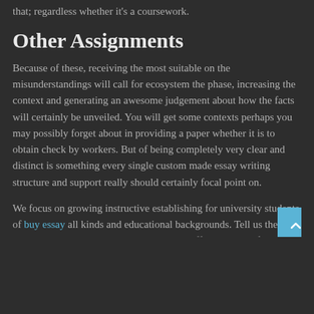that; regardless whether it's a coursework.
Other Assignments
Because of these, receiving the most suitable on the misunderstandings will call for ecosystem the phase, increasing the context and generating an awesome judgement about how the facts will certainly be unveiled. You will get some contexts perhaps you may possibly forget about in providing a paper whether it is to obtain check by workers. But of being completely very clear and distinct is something every single custom made essay writing structure and support really should certainly focal point on.
We focus on growing instructive establishing for university students of buy essay all kinds and educational backgrounds. Tell us the headline, blog be dependent and then the different kinds of papers, and we are going to identify big-calibre personal composing suitable for you to page.cheap custom essay writing services It is easy to give us as a number of